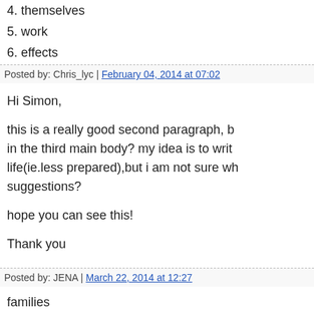4. themselves
5. work
6. effects
Posted by: Chris_lyc | February 04, 2014 at 07:02
Hi Simon,

this is a really good second paragraph, b in the third main body? my idea is to writ life(ie.less prepared),but i am not sure wh suggestions?

hope you can see this!

Thank you
Posted by: JENA | March 22, 2014 at 12:27
families
cope with
basis(life)
their capacity(themselves)
labour